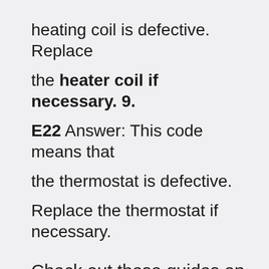heating coil is defective. Replace the heater coil if necessary. 9. E22 Answer: This code means that the thermostat is defective. Replace the thermostat if necessary.
Check out these guides on error codes for other